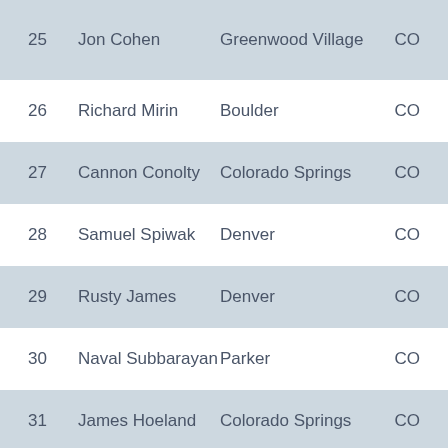| # | Name | City | State |
| --- | --- | --- | --- |
| 25 | Jon Cohen | Greenwood Village | CO |
| 26 | Richard Mirin | Boulder | CO |
| 27 | Cannon Conolty | Colorado Springs | CO |
| 28 | Samuel Spiwak | Denver | CO |
| 29 | Rusty James | Denver | CO |
| 30 | Naval Subbarayan | Parker | CO |
| 31 | James Hoeland | Colorado Springs | CO |
| 32 | Michael Garner | Bennett | CO |